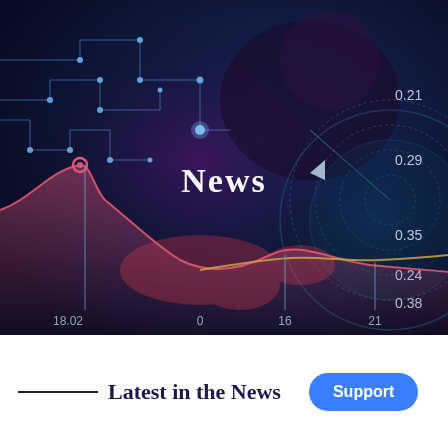[Figure (infographic): Dark blue tech/data visualization hero banner showing circuit board patterns on the left, a radar/globe graphic on the right with decimal values (0.21, 0.29, 0.35, 0.38, 0.24) along the right edge, overlaid area/line charts at the bottom with x-axis labels (18.02, 0, 16, 21) and colored curves (pink, gold), and a world map silhouette in the center-bottom. The word 'News' appears in large white bold serif text in the center of the image.]
Latest in the News
Support